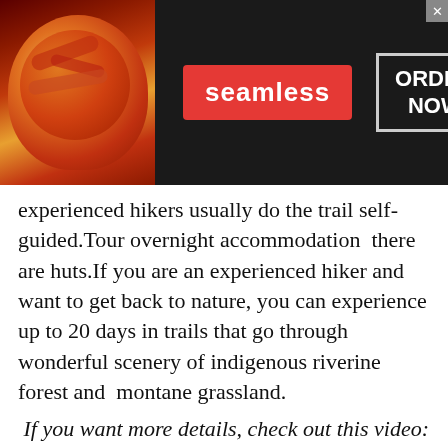[Figure (screenshot): Seamless food delivery advertisement banner with pizza image, red Seamless logo, and ORDER NOW button on dark background]
experienced hikers usually do the trail self-guided.Tour overnight accommodation  there are huts.If you are an experienced hiker and want to get back to nature, you can experience up to 20 days in trails that go through wonderful scenery of indigenous riverine forest and  montane grassland.
If you want more details, check out this video:
[Figure (screenshot): Cat Game mobile game advertisement banner with cartoon cat characters, CAT GAME logo, and PLAY NOW button on sky and grass background]